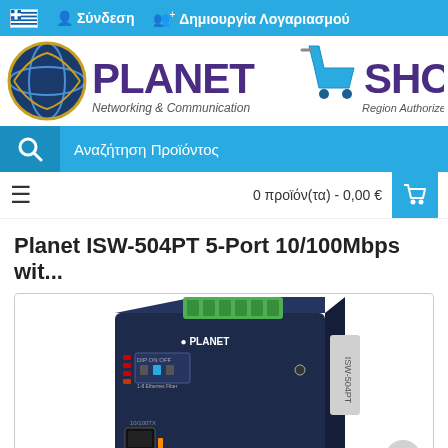Σύνδεση  Δημιουργία Λογαριασμού
[Figure (logo): Planet Shop logo - Networking & Communication, Region Authorized Reseller]
Αναζήτηση Προϊόντος
0 προϊόν(τα) - 0,00 €
Planet ISW-504PT 5-Port 10/100Mbps wit...
[Figure (photo): Photo of Planet ISW-504PT industrial network switch device, dark blue metal casing with green terminal block connector on top, front panel showing ports and LEDs, PLANET branding visible]